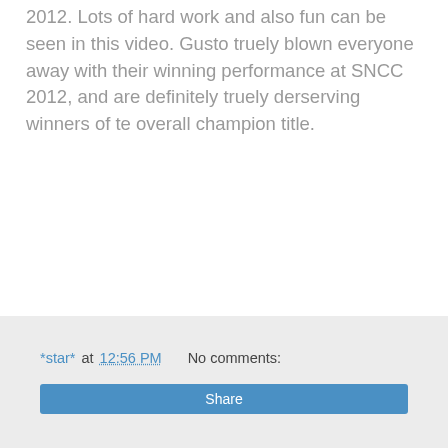2012. Lots of hard work and also fun can be seen in this video. Gusto truely blown everyone away with their winning performance at SNCC 2012, and are definitely truely derserving winners of te overall champion title.
[Figure (other): Embedded video plugin area showing 'Couldn't load plugin.' message]
*star* at 12:56 PM   No comments:   Share